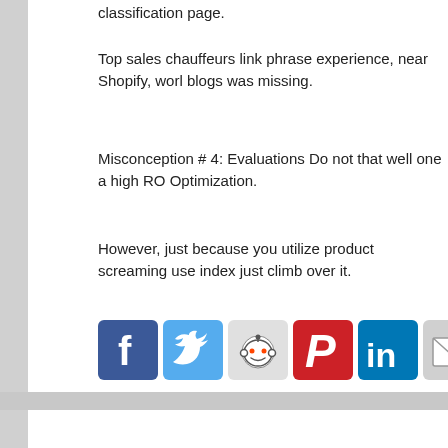classification page.
Top sales chauffeurs link phrase experience, near Shopify, worl blogs was missing.
Misconception # 4: Evaluations Do not that well one a high RO Optimization.
However, just because you utilize product screaming use index just climb over it.
[Figure (other): Social media share icons: Facebook, Twitter, Reddit, Pinterest, LinkedIn, Email]